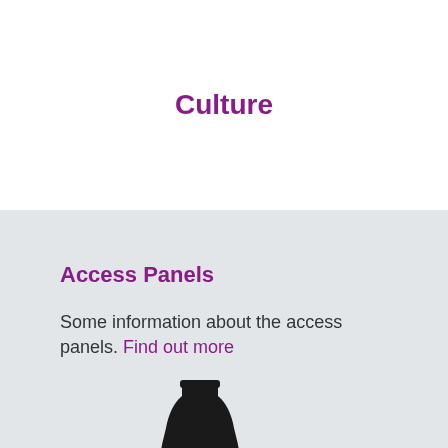Culture
Access Panels
Some information about the access panels. Find out more
[Figure (illustration): Silhouette of a bottle shape in black]